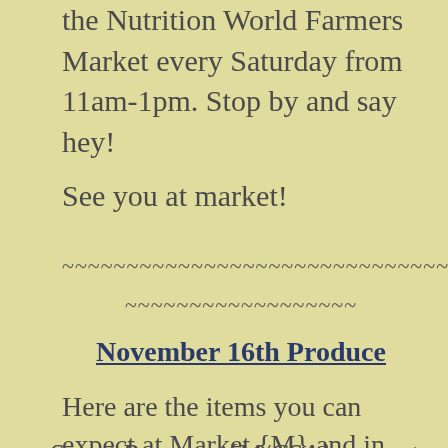the Nutrition World Farmers Market every Saturday from 11am-1pm. Stop by and say hey!
See you at market!
~~~~~~~~~~~~~~~~~~~~~~~~~~~~~~~~
~~~~~~~~~~~~~~~~~~
November 16th Produce
Here are the items you can expect at Market {M} and in the CSA {CSA}:
Sweet Potatoes {M/CSA}: expect VERY